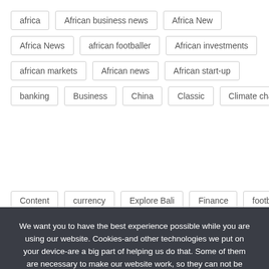africa
African business news
Africa New
Africa News
african footballer
African investments
african markets
African news
African start-up
banking
Business
China
Classic
Climate change
Content
currency
Explore Bali
Finance
football
We want you to have the best experience possible while you are using our website. Cookies-and other technologies we put on your device-are a big part of helping us do that. Some of them are necessary to make our website work, so they can not be turned off. Others, such as cookies for analytics, help us track your interaction with our ads and articles-and enhance your experience online. We only want to show you adverts about things you 're going to care about. So that advertising cookies that we and third parties have placed tell us what you are engaging with on other websites, as well as our own. If you continue to use this website we assume you will be happy with it.
I'm in
No
Cookie Policy